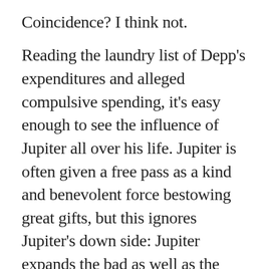Coincidence? I think not.
Reading the laundry list of Depp's expenditures and alleged compulsive spending, it's easy enough to see the influence of Jupiter all over his life. Jupiter is often given a free pass as a kind and benevolent force bestowing great gifts, but this ignores Jupiter's down side: Jupiter expands the bad as well as the good. If you spent a nickel ordinarily, Jupiter and Neptune are